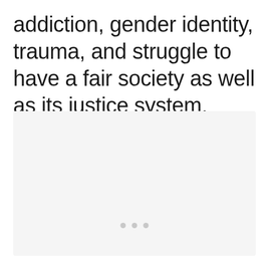addiction, gender identity, trauma, and struggle to have a fair society as well as its justice system.
[Figure (other): A light gray content placeholder area with three pagination dots at the bottom center, and interactive buttons (heart/like and share with count of 4) on the right side.]